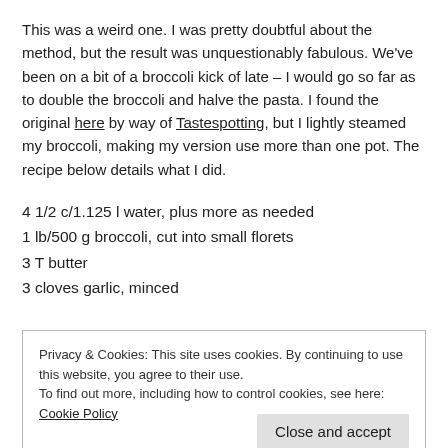This was a weird one. I was pretty doubtful about the method, but the result was unquestionably fabulous. We've been on a bit of a broccoli kick of late – I would go so far as to double the broccoli and halve the pasta. I found the original here by way of Tastespotting, but I lightly steamed my broccoli, making my version use more than one pot. The recipe below details what I did.
4 1/2 c/1.125 l water, plus more as needed
1 lb/500 g broccoli, cut into small florets
3 T butter
3 cloves garlic, minced
Privacy & Cookies: This site uses cookies. By continuing to use this website, you agree to their use.
To find out more, including how to control cookies, see here: Cookie Policy
1/2 t dry mustard